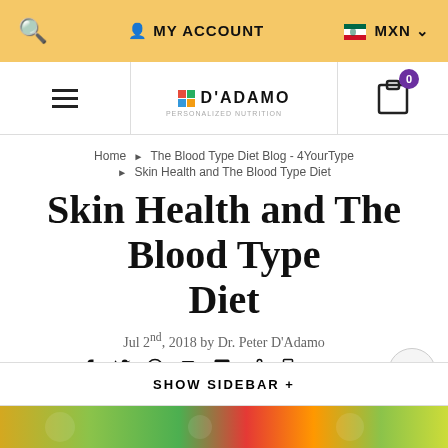MY ACCOUNT  MXN
[Figure (logo): D'Adamo personalized nutrition logo with colored squares]
Home ▶ The Blood Type Diet Blog - 4YourType ▶ Skin Health and The Blood Type Diet
Skin Health and The Blood Type Diet
Jul 2nd, 2018 by Dr. Peter D'Adamo
SHARE
SHOW SIDEBAR +